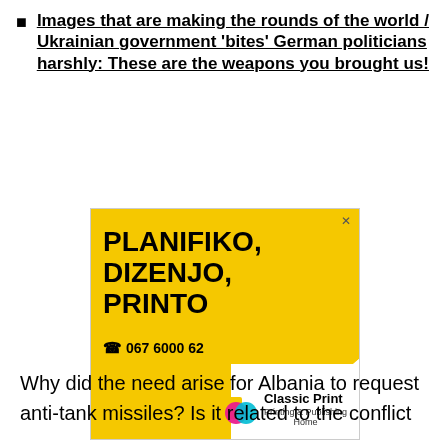Images that are making the rounds of the world / Ukrainian government 'bites' German politicians harshly: These are the weapons you brought us!
[Figure (other): Advertisement for Classic Print printing company. Yellow background with bold black text reading 'PLANIFIKO, DIZENJO, PRINTO' and phone number '067 6000 62'. Classic Print logo with cyan and magenta overlapping circles in bottom right corner.]
Why did the need arise for Albania to request anti-tank missiles? Is it related to the conflict